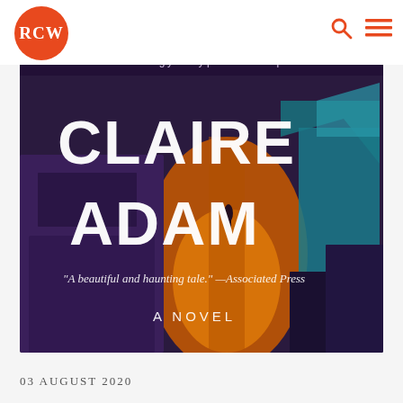RCW
[Figure (photo): Book cover of a novel by Claire Adam. Dark aerial view of buildings with a glowing orange pathway and a lone figure. Text on cover reads: CLAIRE ADAM, 'A beautiful and haunting tale.' —Associated Press, A NOVEL. Banner text at top: devastatingly family portrait — People]
03 AUGUST 2020